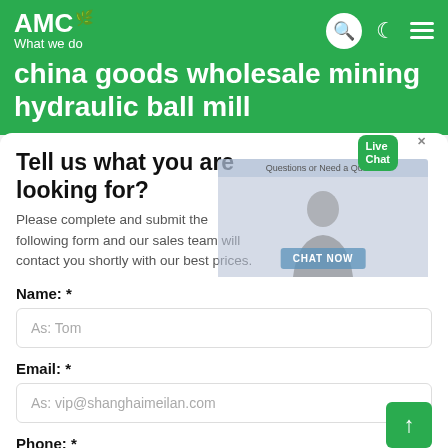AMC What we do
china goods wholesale mining hydraulic ball mill
Tell us what you are looking for?
Please complete and submit the following form and our sales team will contact you shortly with our best prices.
Name: *
As: Tom
Email: *
As: vip@shanghaimeilan.com
Phone: *